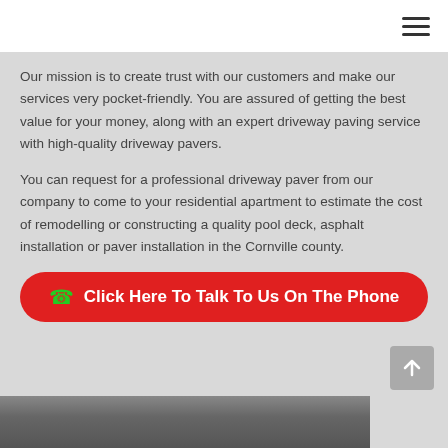Our mission is to create trust with our customers and make our services very pocket-friendly. You are assured of getting the best value for your money, along with an expert driveway paving service with high-quality driveway pavers.
You can request for a professional driveway paver from our company to come to your residential apartment to estimate the cost of remodelling or constructing a quality pool deck, asphalt installation or paver installation in the Cornville county.
[Figure (other): Red rounded call-to-action button with green phone icon and white text: Click Here To Talk To Us On The Phone]
[Figure (photo): Partial photograph of a building exterior at the bottom of the page]